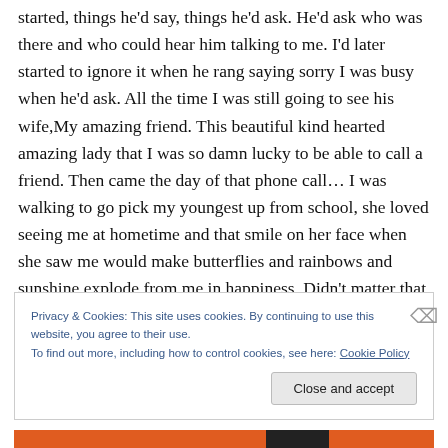started, things he'd say, things he'd ask. He'd ask who was there and who could hear him talking to me. I'd later started to ignore it when he rang saying sorry I was busy when he'd ask. All the time I was still going to see his wife,My amazing friend. This beautiful kind hearted amazing lady that I was so damn lucky to be able to call a friend. Then came the day of that phone call… I was walking to go pick my youngest up from school, she loved seeing me at hometime and that smile on her face when she saw me would make butterflies and rainbows and sunshine explode from me in happiness. Didn't matter that
Privacy & Cookies: This site uses cookies. By continuing to use this website, you agree to their use.
To find out more, including how to control cookies, see here: Cookie Policy
Close and accept